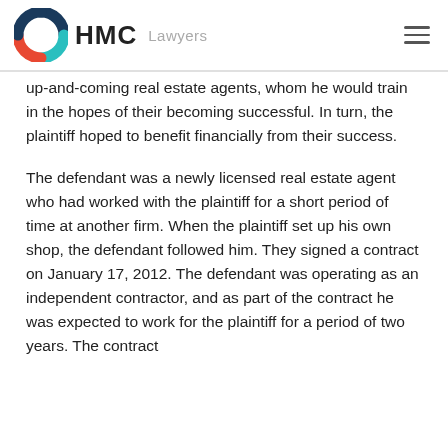HMC Lawyers
up-and-coming real estate agents, whom he would train in the hopes of their becoming successful. In turn, the plaintiff hoped to benefit financially from their success.
The defendant was a newly licensed real estate agent who had worked with the plaintiff for a short period of time at another firm. When the plaintiff set up his own shop, the defendant followed him. They signed a contract on January 17, 2012. The defendant was operating as an independent contractor, and as part of the contract he was expected to work for the plaintiff for a period of two years. The contract